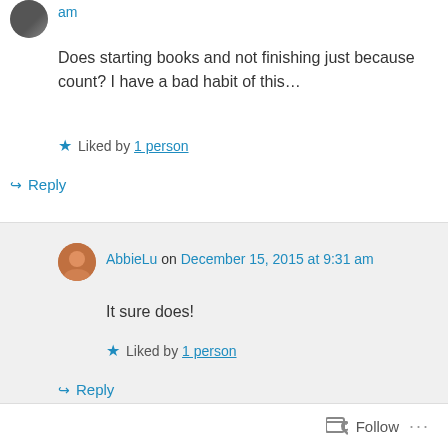am
Does starting books and not finishing just because count? I have a bad habit of this…
Liked by 1 person
Reply
AbbieLu on December 15, 2015 at 9:31 am
It sure does!
Liked by 1 person
Reply
Follow